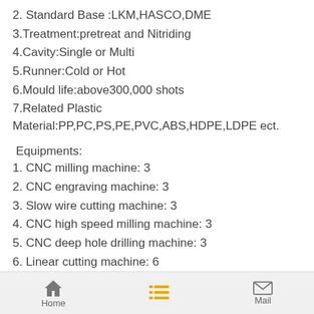2. Standard Base :LKM,HASCO,DME
3.Treatment:pretreat and Nitriding
4.Cavity:Single or Multi
5.Runner:Cold or Hot
6.Mould life:above300,000 shots
7.Related Plastic Material:PP,PC,PS,PE,PVC,ABS,HDPE,LDPE ect.
Equipments:
1. CNC milling machine: 3
2. CNC engraving machine: 3
3. Slow wire cutting machine: 3
4. CNC high speed milling machine: 3
5. CNC deep hole drilling machine: 3
6. Linear cutting machine: 6
7. Drilling machine: 3
Home  [list]  Mail